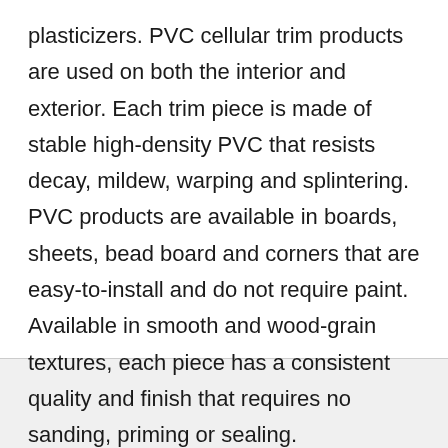plasticizers. PVC cellular trim products are used on both the interior and exterior. Each trim piece is made of stable high-density PVC that resists decay, mildew, warping and splintering. PVC products are available in boards, sheets, bead board and corners that are easy-to-install and do not require paint. Available in smooth and wood-grain textures, each piece has a consistent quality and finish that requires no sanding, priming or sealing.